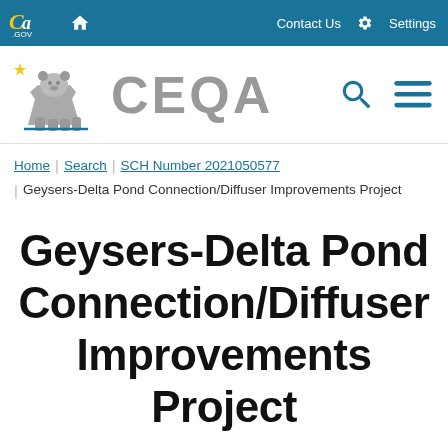CA.GOV | Home | Contact Us | Settings
[Figure (logo): CEQA California state website logo with bear graphic, search and menu icons]
Home | Search | SCH Number 2021050577 | Geysers-Delta Pond Connection/Diffuser Improvements Project
Geysers-Delta Pond Connection/Diffuser Improvements Project